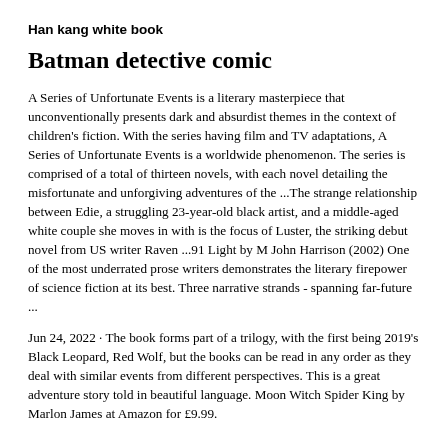Han kang white book
Batman detective comic
A Series of Unfortunate Events is a literary masterpiece that unconventionally presents dark and absurdist themes in the context of children's fiction. With the series having film and TV adaptations, A Series of Unfortunate Events is a worldwide phenomenon. The series is comprised of a total of thirteen novels, with each novel detailing the misfortunate and unforgiving adventures of the ...The strange relationship between Edie, a struggling 23-year-old black artist, and a middle-aged white couple she moves in with is the focus of Luster, the striking debut novel from US writer Raven ...91 Light by M John Harrison (2002) One of the most underrated prose writers demonstrates the literary firepower of science fiction at its best. Three narrative strands - spanning far-future ...
Jun 24, 2022 · The book forms part of a trilogy, with the first being 2019's Black Leopard, Red Wolf, but the books can be read in any order as they deal with similar events from different perspectives. This is a great adventure story told in beautiful language. Moon Witch Spider King by Marlon James at Amazon for £9.99.